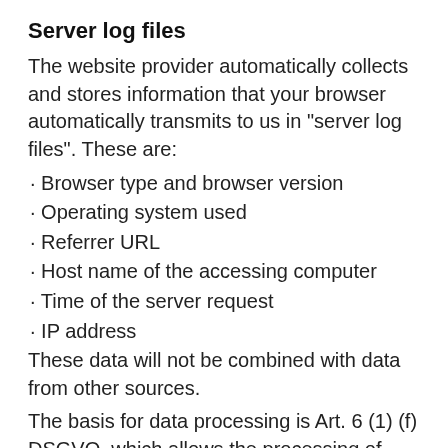Server log files
The website provider automatically collects and stores information that your browser automatically transmits to us in "server log files". These are:
· Browser type and browser version
· Operating system used
· Referrer URL
· Host name of the accessing computer
· Time of the server request
· IP address
These data will not be combined with data from other sources.
The basis for data processing is Art. 6 (1) (f) DSGVO, which allows the processing of data to fulfill a contract or for measures